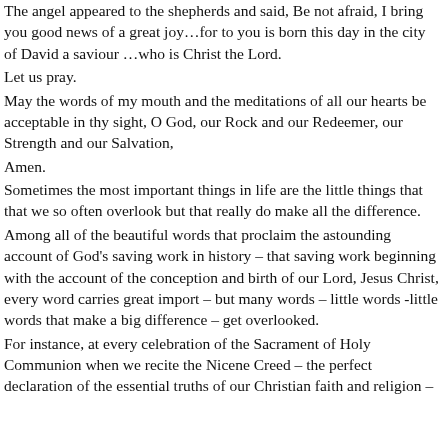The angel appeared to the shepherds and said, Be not afraid, I bring you good news of a great joy…for to you is born this day in the city of David a saviour …who is Christ the Lord.
Let us pray.
May the words of my mouth and the meditations of all our hearts be acceptable in thy sight, O God, our Rock and our Redeemer, our Strength and our Salvation,
Amen.
Sometimes the most important things in life are the little things that that we so often overlook but that really do make all the difference.
Among all of the beautiful words that proclaim the astounding account of God's saving work in history – that saving work beginning with the account of the conception and birth of our Lord, Jesus Christ, every word carries great import – but many words – little words -little words that make a big difference – get overlooked.
For instance, at every celebration of the Sacrament of Holy Communion when we recite the Nicene Creed – the perfect declaration of the essential truths of our Christian faith and religion –